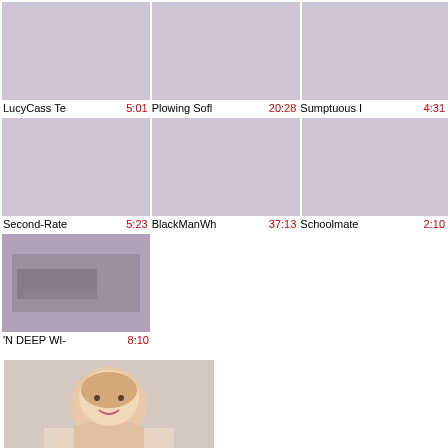[Figure (screenshot): Video thumbnail placeholder - light purple/lavender color]
[Figure (screenshot): Video thumbnail placeholder - light purple/lavender color]
[Figure (screenshot): Video thumbnail placeholder - light purple/lavender color]
LucyCass Te  5:01
Plowing Sofl  20:28
Sumptuous I  4:31
[Figure (screenshot): Video thumbnail placeholder - light purple/lavender color]
[Figure (screenshot): Video thumbnail placeholder - light purple/lavender color]
[Figure (screenshot): Video thumbnail placeholder - light purple/lavender color]
Second-Rate  5:23
BlackManWh  37:13
Schoolmate  2:10
[Figure (photo): Video thumbnail showing two people]
'N DEEP WI-  8:10
[Figure (photo): Large photo of blonde woman smiling with hands behind head]